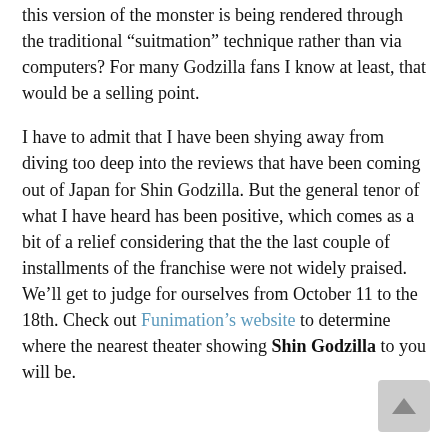this version of the monster is being rendered through the traditional “suitmation” technique rather than via computers? For many Godzilla fans I know at least, that would be a selling point.
I have to admit that I have been shying away from diving too deep into the reviews that have been coming out of Japan for Shin Godzilla. But the general tenor of what I have heard has been positive, which comes as a bit of a relief considering that the the last couple of installments of the franchise were not widely praised. We’ll get to judge for ourselves from October 11 to the 18th. Check out Funimation’s website to determine where the nearest theater showing Shin Godzilla to you will be.